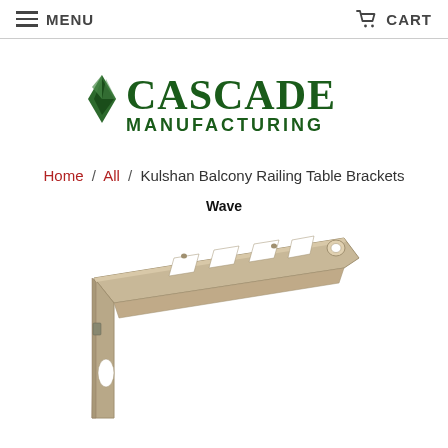MENU    CART
[Figure (logo): Cascade Manufacturing logo with green diamond/leaf shape icon and green text reading CASCADE MANUFACTURING]
Home / All / Kulshan Balcony Railing Table Brackets
Wave
[Figure (photo): Photo of a tan/beige metal bracket (Kulshan Balcony Railing Table Bracket, Wave style) with decorative cut-out slats in a triangular/angled support shape, shown on white background]